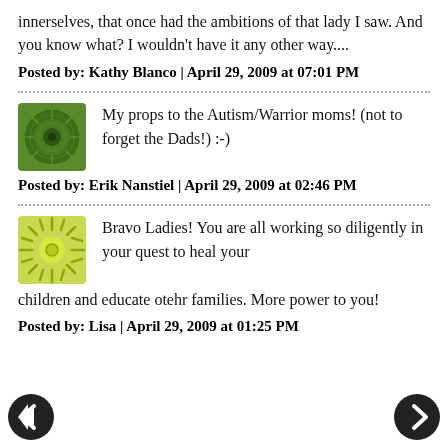innerselves, that once had the ambitions of that lady I saw. And you know what? I wouldn't have it any other way....
Posted by: Kathy Blanco | April 29, 2009 at 07:01 PM
[Figure (illustration): Green decorative avatar icon with circular pattern]
My props to the Autism/Warrior moms! (not to forget the Dads!) :-)
Posted by: Erik Nanstiel | April 29, 2009 at 02:46 PM
[Figure (illustration): Green sunburst avatar icon]
Bravo Ladies! You are all working so diligently in your quest to heal your children and educate otehr families. More power to you!
Posted by: Lisa | April 29, 2009 at 01:25 PM